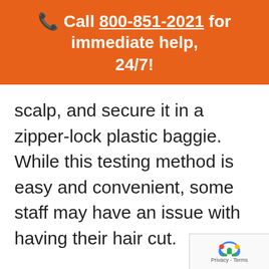📞 Call 800-851-2021 for immediate help, 24/7!
scalp, and secure it in a zipper-lock plastic baggie. While this testing method is easy and convenient, some staff may have an issue with having their hair cut.
No worries.
Body hair can be collected instead